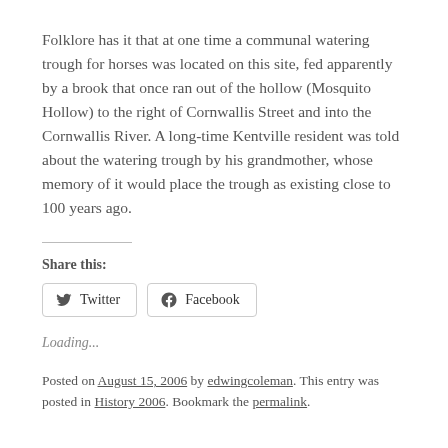Folklore has it that at one time a communal watering trough for horses was located on this site, fed apparently by a brook that once ran out of the hollow (Mosquito Hollow) to the right of Cornwallis Street and into the Cornwallis River. A long-time Kentville resident was told about the watering trough by his grandmother, whose memory of it would place the trough as existing close to 100 years ago.
Share this:
Loading...
Posted on August 15, 2006 by edwingcoleman. This entry was posted in History 2006. Bookmark the permalink.